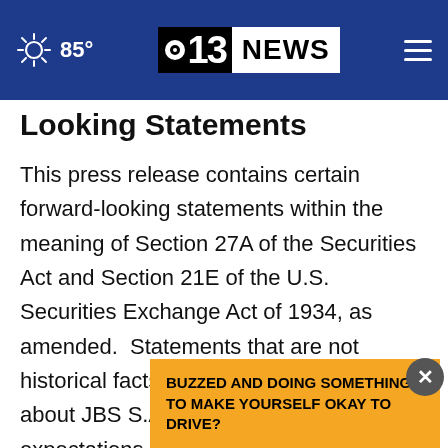85° | CBS 13 NEWS
Looking Statements
This press release contains certain forward-looking statements within the meaning of Section 27A of the Securities Act and Section 21E of the U.S. Securities Exchange Act of 1934, as amended.  Statements that are not historical facts, including statements about JBS S.A.'s perspectives and expectations, are forward-looking statements.  The words "expect" "beli... similar... and
BUZZED AND DOING SOMETHING TO MAKE YOURSELF OKAY TO DRIVE?